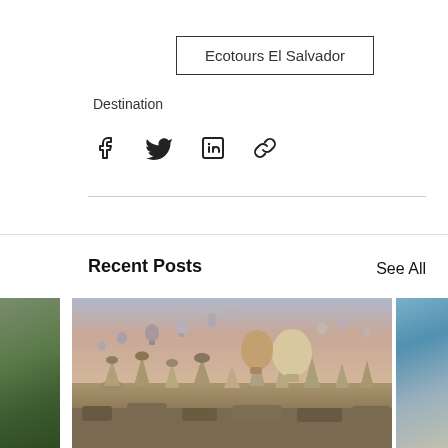Ecotours El Salvador
Destination
[Figure (illustration): Social share icons row: Facebook, Twitter, LinkedIn, Link/chain]
[Figure (photo): Blog section with Recent Posts header and image carousel showing hot air balloons over Cappadocia, Turkey landscape, with partial images on left and right sides]
Recent Posts
See All
Cappadocia, Turkey